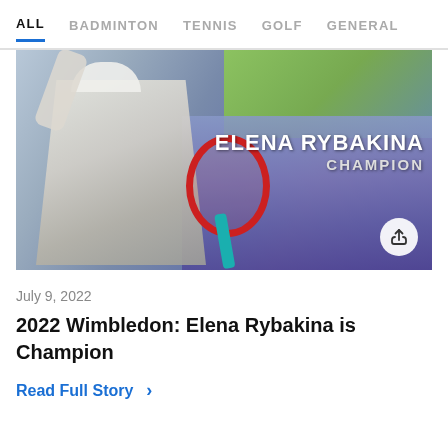ALL   BADMINTON   TENNIS   GOLF   GENERAL
[Figure (photo): Elena Rybakina holding a tennis racket and raising her arm in celebration, with text overlay reading ELENA RYBAKINA CHAMPION on a blurred outdoor background]
July 9, 2022
2022 Wimbledon: Elena Rybakina is Champion
Read Full Story >